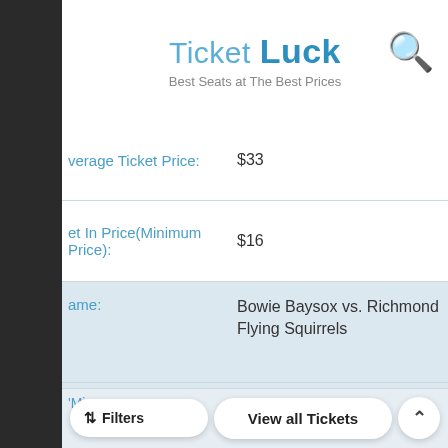[Figure (logo): Ticket Luck logo with tagline 'Best Seats at The Best Prices']
| Field | Value |
| --- | --- |
| Average Ticket Price: | $33 |
| Get In Price(Minimum Price): | $16 |
| Game: | Bowie Baysox vs. Richmond Flying Squirrels |
| City: | Bowie |
| Date: | 9-Sep-22 |
| Average Ticket Price: | $33 |
| Get In Price(Minimum Price): | (partial) |
| Game: | Bowie Baysox vs. Richmond (partial) |
Filters  View all Tickets